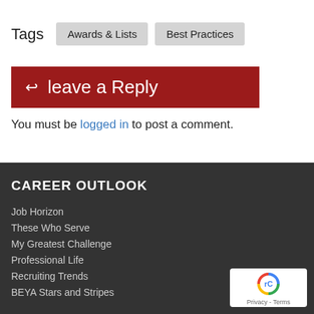Tags   Awards & Lists   Best Practices
leave a Reply
You must be logged in to post a comment.
CAREER OUTLOOK
Job Horizon
These Who Serve
My Greatest Challenge
Professional Life
Recruiting Trends
BEYA Stars and Stripes